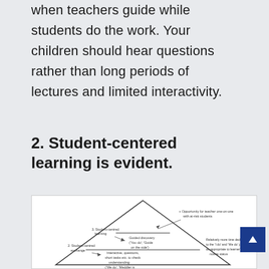when teachers guide while students do the work. Your children should hear questions rather than long periods of lectures and limited interactivity.
2. Student-centered learning is evident.
[Figure (other): A triangle diagram showing levels of student-centered learning. The triangle has labels: at the top right 'Opportunity for teacher one-on-one with at-risk students', inside upper portion 'Guided discovery (You do; Guide on the side)', left side label '3. Student-centred learning', lower left '2. Student-centered exchange', lower inside 'Interactive, questions, short tasks etc. to check understanding (We do; Meddler is the middle)', right side 'Relatively more time dedicated to the I do and We do phase, as appropriate to learner's novice status'.]